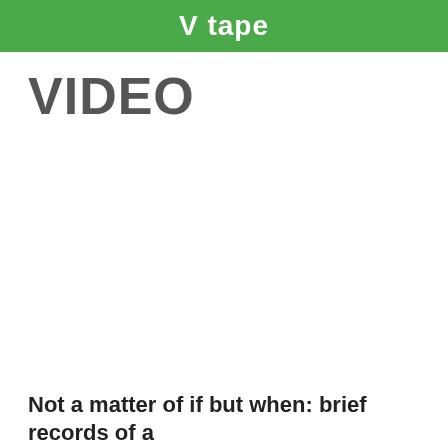V tape
VIDEO
Not a matter of if but when: brief records of a